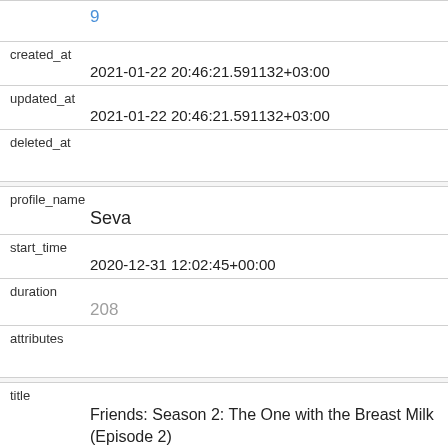| 9 |
| created_at | 2021-01-22 20:46:21.591132+03:00 |
| updated_at | 2021-01-22 20:46:21.591132+03:00 |
| deleted_at |  |
| profile_name | Seva |
| start_time | 2020-12-31 12:02:45+00:00 |
| duration | 208 |
| attributes |  |
| title | Friends: Season 2: The One with the Breast Milk (Episode 2) |
| supplemental_video_type |  |